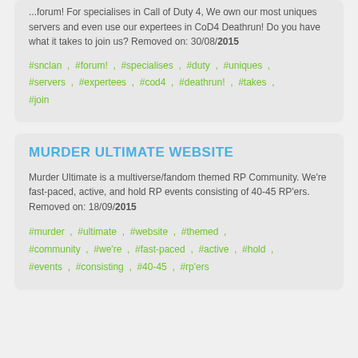...forum! For specialises in Call of Duty 4, We own our most uniques servers and even use our expertees in CoD4 Deathrun! Do you have what it takes to join us? Removed on: 30/08/2015
#snclan , #forum! , #specialises , #duty , #uniques , #servers , #expertees , #cod4 , #deathrun! , #takes , #join
MURDER ULTIMATE WEBSITE
Murder Ultimate is a multiverse/fandom themed RP Community. We're fast-paced, active, and hold RP events consisting of 40-45 RP'ers. Removed on: 18/09/2015
#murder , #ultimate , #website , #themed , #community , #we're , #fast-paced , #active , #hold , #events , #consisting , #40-45 , #rp'ers